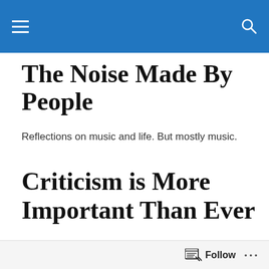The Noise Made By People [navigation bar with hamburger menu and search icon]
The Noise Made By People
Reflections on music and life. But mostly music.
Criticism is More Important Than Ever
Over in the world of food, a controversy recently brewed over a review The New York Times' Pete Wells wrote about a California restaurant, LocoL, which from what I've gathered is an attempt to make a neighborhood fast food place with healthier options that will serve lower
Follow ...